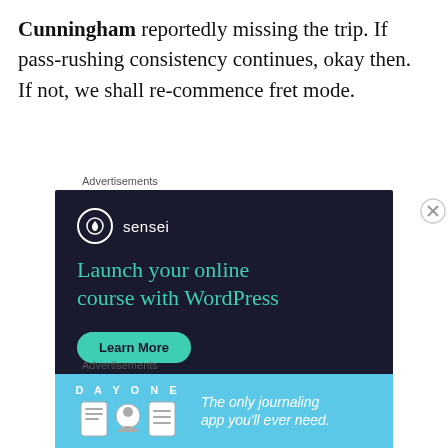Cunningham reportedly missing the trip. If pass-rushing consistency continues, okay then. If not, we shall re-commence fret mode.
[Figure (other): Advertisement for Sensei WordPress plugin showing dark navy background with teal text reading 'Launch your online course with WordPress' and a 'Learn More' button. Includes Sensei logo and 'Powered by WordPress.com' footer.]
[Figure (other): Advertisement for Day One journaling app showing light blue background with illustrated icons and text 'The only journaling app you'll ever need.']